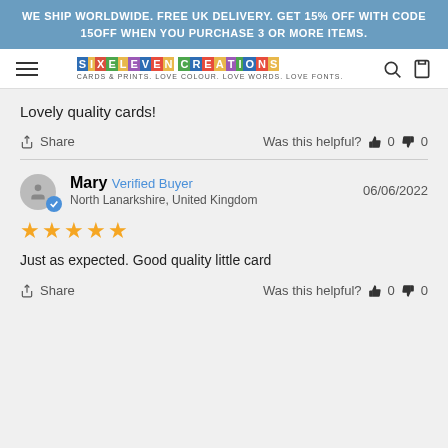WE SHIP WORLDWIDE. FREE UK DELIVERY. GET 15% OFF WITH CODE 15OFF WHEN YOU PURCHASE 3 OR MORE ITEMS.
[Figure (logo): SixEleven Creations logo with colorful letter boxes. Tagline: CARDS & PRINTS. LOVE COLOUR. LOVE WORDS. LOVE FONTS.]
Lovely quality cards!
Share   Was this helpful? 👍 0 👎 0
Mary  Verified Buyer  North Lanarkshire, United Kingdom  06/06/2022
★★★★★
Just as expected. Good quality little card
Share   Was this helpful? 👍 0 👎 0